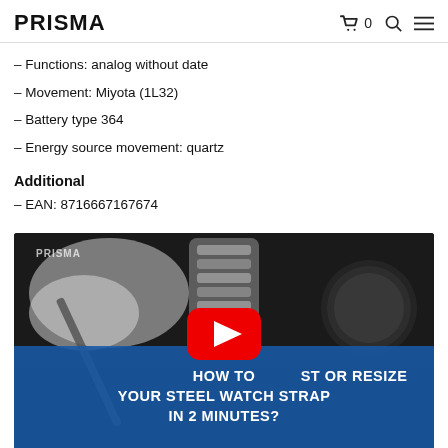PRISMA | cart 0 | search | menu
– Functions: analog without date
– Movement: Miyota (1L32)
– Battery type 364
– Energy source movement: quartz
Additional
– EAN: 8716667167674
[Figure (screenshot): Video thumbnail showing a steel watch strap being worked on with a tool, with a YouTube play button overlay and blue banner reading: HOW TO [ADJ]ST OR RESIZE YOUR STEEL WATCH STRAP IN 2 MINUTES? PRISMA watermark top left.]